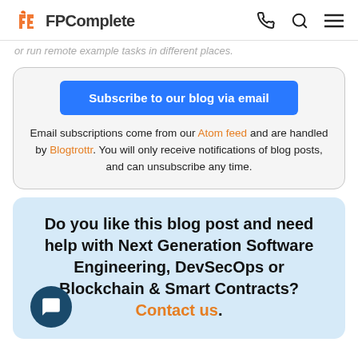FPComplete
or run remote example tasks in different places.
Subscribe to our blog via email
Email subscriptions come from our Atom feed and are handled by Blogtrottr. You will only receive notifications of blog posts, and can unsubscribe any time.
Do you like this blog post and need help with Next Generation Software Engineering, DevSecOps or Blockchain & Smart Contracts? Contact us.